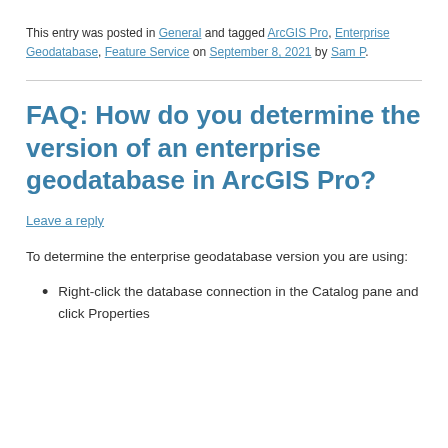This entry was posted in General and tagged ArcGIS Pro, Enterprise Geodatabase, Feature Service on September 8, 2021 by Sam P.
FAQ: How do you determine the version of an enterprise geodatabase in ArcGIS Pro?
Leave a reply
To determine the enterprise geodatabase version you are using:
Right-click the database connection in the Catalog pane and click Properties